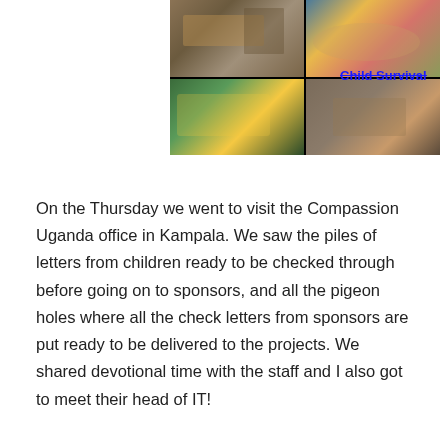[Figure (photo): A 2x2 photo collage showing four scenes: top-left shows people working with tools/carpentry outdoors, top-right shows children doing crafts around a table, bottom-left shows students in green and yellow uniforms gathered together, bottom-right shows someone at a sewing machine. A 'Child Survival' label with strikethrough appears overlaid in blue text at the center of the collage.]
On the Thursday we went to visit the Compassion Uganda office in Kampala. We saw the piles of letters from children ready to be checked through before going on to sponsors, and all the pigeon holes where all the check letters from sponsors are put ready to be delivered to the projects. We shared devotional time with the staff and I also got to meet their head of IT!